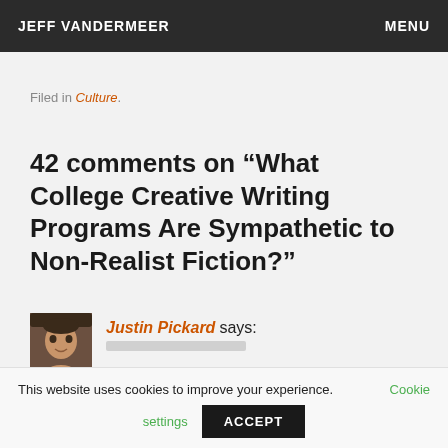JEFF VANDERMEER   MENU
Filed in Culture.
42 comments on “What College Creative Writing Programs Are Sympathetic to Non-Realist Fiction?”
Justin Pickard says:
This website uses cookies to improve your experience.   Cookie settings   ACCEPT